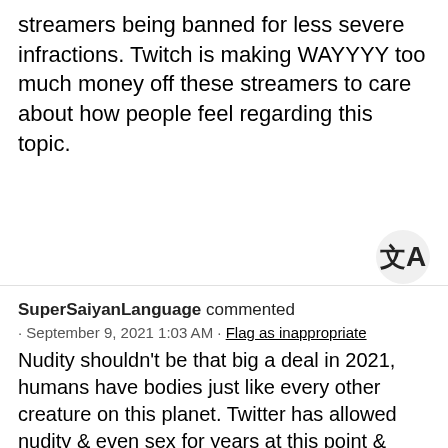streamers being banned for less severe infractions. Twitch is making WAYYYY too much money off these streamers to care about how people feel regarding this topic.
[Figure (other): Translation icon button - a circular grey button with a translation symbol (文A)]
SuperSaiyanLanguage commented · September 9, 2021 1:03 AM · Flag as inappropriate Nudity shouldn't be that big a deal in 2021, humans have bodies just like every other creature on this planet. Twitter has allowed nudity & even sex for years at this point & Instagram allows some partial nudity. Any advertiser who would break ties with Twitch over a naked body is not worth Twitch's time, money & massive audience. Some people say this wouldn't be "fair" because female streamers would make more money then their male counterparts, I feel this is a lackluster argument. The audience some female streamers have are